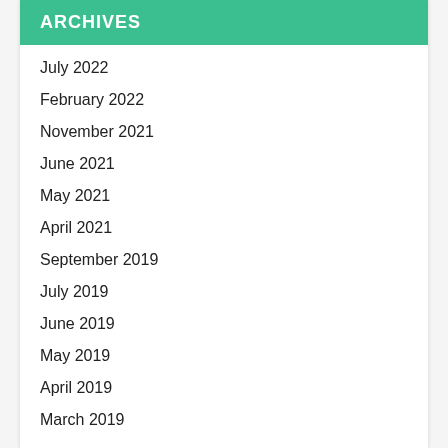ARCHIVES
July 2022
February 2022
November 2021
June 2021
May 2021
April 2021
September 2019
July 2019
June 2019
May 2019
April 2019
March 2019